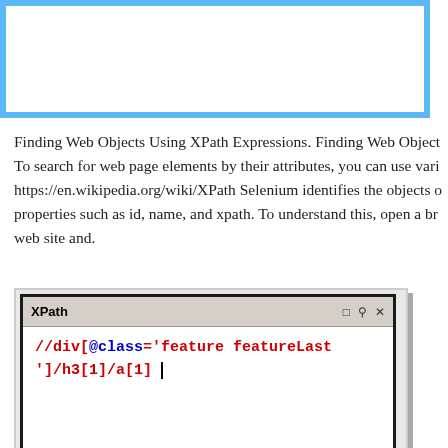[Figure (screenshot): Blue-bordered box (UI element) at top of page]
Finding Web Objects Using XPath Expressions. Finding Web Objects. To search for web page elements by their attributes, you can use various https://en.wikipedia.org/wiki/XPath Selenium identifies the objects on properties such as id, name, and xpath. To understand this, open a browser web site and.
[Figure (screenshot): XPath dialog window showing code: //div[@class='feature featureLast ']/h3[1]/a[1] with a cursor]